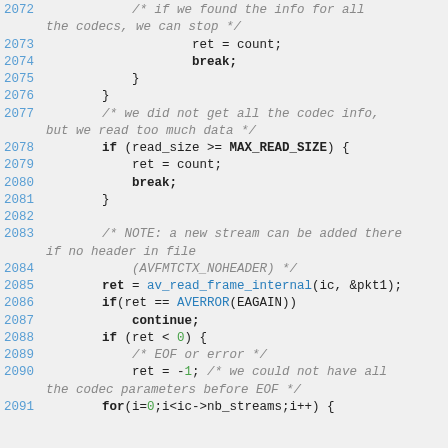Source code snippet showing C code lines 2072-2091 from a media format context reader function